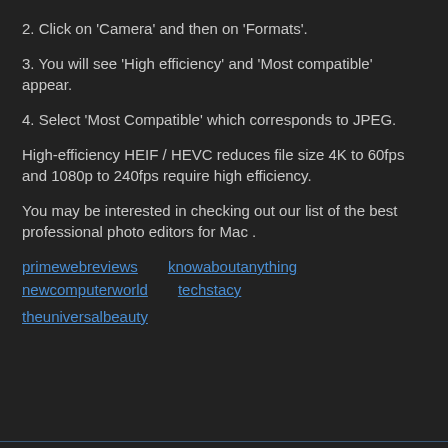2. Click on 'Camera' and then on 'Formats'.
3. You will see 'High efficiency' and 'Most compatible' appear.
4. Select 'Most Compatible' which corresponds to JPEG.
High-efficiency HEIF / HEVC reduces file size 4K to 60fps and 1080p to 240fps require high efficiency.
You may be interested in checking out our list of the best professional photo editors for Mac .
primewebreviews   knowaboutanything   newcomputerworld   techstacy   theuniversalbeauty